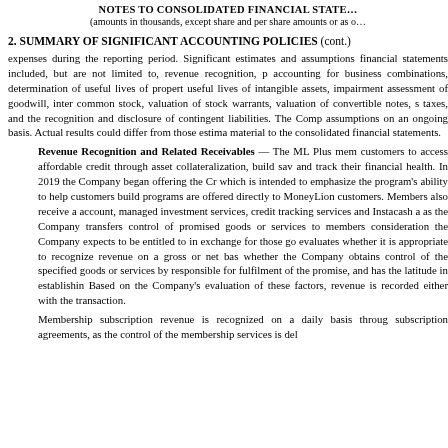NOTES TO CONSOLIDATED FINANCIAL STATEMENTS
(amounts in thousands, except share and per share amounts or as otherwise noted)
2. SUMMARY OF SIGNIFICANT ACCOUNTING POLICIES (cont.)
expenses during the reporting period. Significant estimates and assumptions reflected in the financial statements included, but are not limited to, revenue recognition, purchase price accounting for business combinations, determination of useful lives of property and equipment, useful lives of intangible assets, impairment assessment of goodwill, intangible assets and common stock, valuation of stock warrants, valuation of convertible notes, share-based taxes, and the recognition and disclosure of contingent liabilities. The Company reviews its assumptions on an ongoing basis. Actual results could differ from those estimates, and may be material to the consolidated financial statements.
Revenue Recognition and Related Receivables — The ML Plus membership allows customers to access affordable credit through asset collateralization, build savings habits, and track their financial health. In 2019 the Company began offering the Credit Builder Plus, which is intended to emphasize the program's ability to help customers build credit. Both programs are offered directly to MoneyLion customers. Members also receive a free checking account, managed investment services, credit tracking services and Instacash advances. Revenue as the Company transfers control of promised goods or services to members in an amount consideration the Company expects to be entitled to in exchange for those goods or services. evaluates whether it is appropriate to recognize revenue on a gross or net basis by determining whether the Company obtains control of the specified goods or services before they are responsible for fulfilment of the promise, and has the latitude in establishing the price. Based on the Company's evaluation of these factors, revenue is recorded either gross or net with the transaction.
Membership subscription revenue is recognized on a daily basis throughout the subscription agreements, as the control of the membership services is del